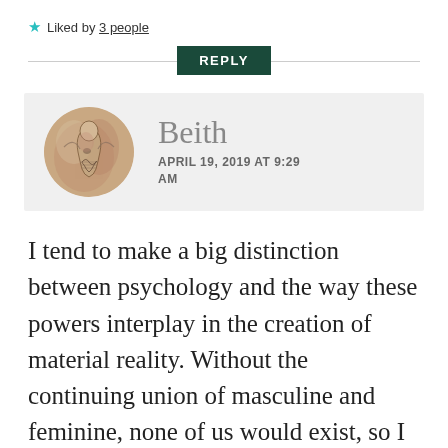★ Liked by 3 people
REPLY
[Figure (illustration): Circular avatar image showing an ancient or medieval-style illustration of a figure, in muted earthy tones of brown, pink, and gray.]
Beith
APRIL 19, 2019 AT 9:29 AM
I tend to make a big distinction between psychology and the way these powers interplay in the creation of material reality. Without the continuing union of masculine and feminine, none of us would exist, so I have no issue